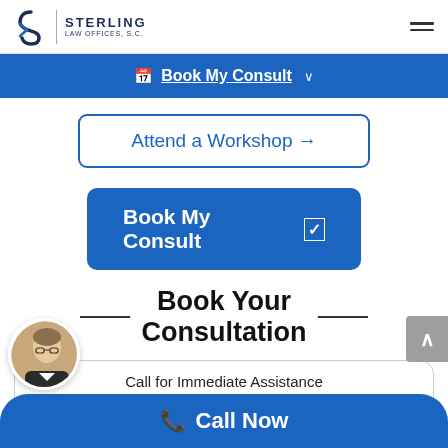Sterling Law Offices, S.C.
Book My Consult
Attend a Workshop →
Book My Consult ☑
Book Your Consultation
Call for Immediate Assistance
(608) 713-8054
📞 Call Now